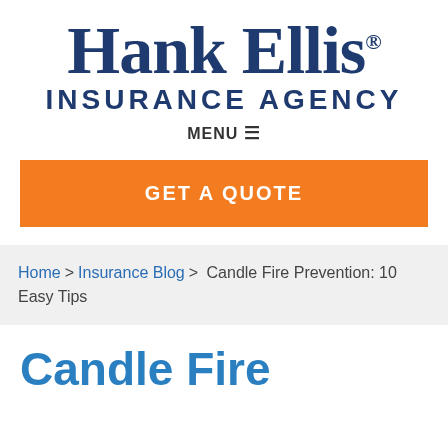Hank Ellis INSURANCE AGENCY
MENU ☰
GET A QUOTE
Home > Insurance Blog > Candle Fire Prevention: 10 Easy Tips
Candle Fire